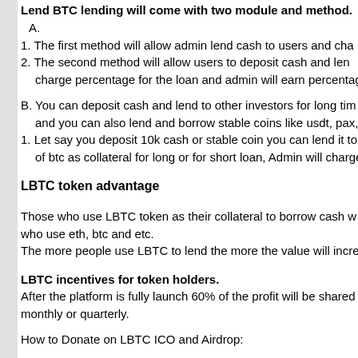Lend BTC lending will come with two module and method.
A.
1. The first method will allow admin lend cash to users and cha...
2. The second method will allow users to deposit cash and len... charge percentage for the loan and admin will earn percenta...
B. You can deposit cash and lend to other investors for long tim... and you can also lend and borrow stable coins like usdt, pax,
1. Let say you deposit 10k cash or stable coin you can lend it to... of btc as collateral for long or for short loan, Admin will charge
LBTC token advantage
Those who use LBTC token as their collateral to borrow cash w... who use eth, btc and etc.
The more people use LBTC to lend the more the value will incre...
LBTC incentives for token holders.
After the platform is fully launch 60% of the profit will be shared... monthly or quarterly.
How to Donate on LBTC ICO and Airdrop:
ICO Rounds:
First Round ICO: 1 ETH = 650 LBTC - Limit 2, 300,000
Second Round ICO: 1 ETH = 500 LBTC - Limit 3, 000, 000